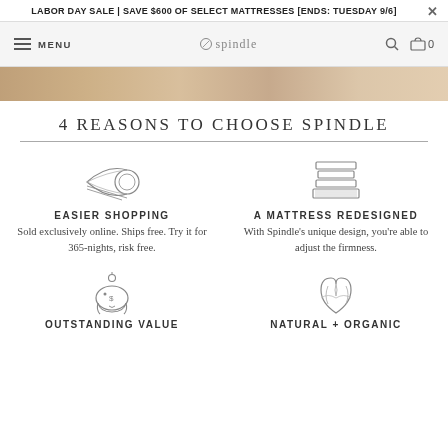LABOR DAY SALE | SAVE $600 OF SELECT MATTRESSES [ENDS: TUESDAY 9/6]
[Figure (screenshot): Navigation bar with menu, Spindle logo, search and cart icons]
[Figure (photo): Hero image strip showing workshop/wood background]
4 REASONS TO CHOOSE SPINDLE
[Figure (illustration): Icon of a rolled mattress/mat]
EASIER SHOPPING
Sold exclusively online. Ships free. Try it for 365-nights, risk free.
[Figure (illustration): Icon of layered mattress layers]
A MATTRESS REDESIGNED
With Spindle's unique design, you're able to adjust the firmness.
[Figure (illustration): Icon of a piggy bank]
OUTSTANDING VALUE
[Figure (illustration): Icon of leaves/organic plant]
NATURAL + ORGANIC